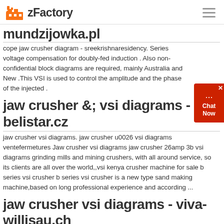zFactory
mundzijowka.pl
cope jaw crusher diagram - sreekrishnaresidency. Series voltage compensation for doubly-fed induction . Also non-confidential block diagrams are required, mainly Australia and New .This VSI is used to control the amplitude and the phase of the injected .
jaw crusher &; vsi diagrams - belistar.cz
jaw crusher vsi diagrams. jaw crusher u0026 vsi diagrams ventefermetures Jaw crusher vsi diagrams jaw crusher 26amp 3b vsi diagrams grinding mills and mining crushers, with all around service, so its clients are all over the world,,vsi kenya crusher machine for sale b series vsi crusher b series vsi crusher is a new type sand making machine,based on long professional experience and according ...
jaw crusher vsi diagrams - viva-willisau.ch